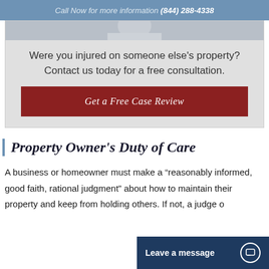Call Now for more information (844) 288-4338
[Figure (photo): Partial photo of a person, cropped, shown at top of CTA card]
Were you injured on someone else's property? Contact us today for a free consultation.
Get a Free Case Review
Property Owner's Duty of Care
A business or homeowner must make a "reasonably informed, good faith, rational judgment" about how to maintain their property and keep from holding others. If not, a judge or...
Leave a message